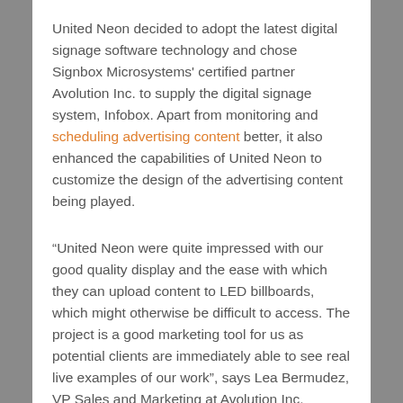United Neon decided to adopt the latest digital signage software technology and chose Signbox Microsystems' certified partner Avolution Inc. to supply the digital signage system, Infobox. Apart from monitoring and scheduling advertising content better, it also enhanced the capabilities of United Neon to customize the design of the advertising content being played.
“United Neon were quite impressed with our good quality display and the ease with which they can upload content to LED billboards, which might otherwise be difficult to access. The project is a good marketing tool for us as potential clients are immediately able to see real live examples of our work”, says Lea Bermudez, VP Sales and Marketing at Avolution Inc.
The solution facilitated a significant tie-up with